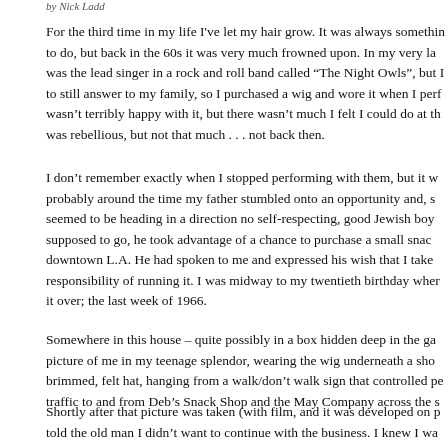by Nick Ladd
For the third time in my life I've let my hair grow. It was always somethin to do, but back in the 60s it was very much frowned upon. In my very la was the lead singer in a rock and roll band called "The Night Owls", but I to still answer to my family, so I purchased a wig and wore it when I perf wasn't terribly happy with it, but there wasn't much I felt I could do at th was rebellious, but not that much . . . not back then.
I don't remember exactly when I stopped performing with them, but it w probably around the time my father stumbled onto an opportunity and, s seemed to be heading in a direction no self-respecting, good Jewish boy supposed to go, he took advantage of a chance to purchase a small snac downtown L.A. He had spoken to me and expressed his wish that I take responsibility of running it. I was midway to my twentieth birthday wher it over; the last week of 1966.
Somewhere in this house – quite possibly in a box hidden deep in the ga picture of me in my teenage splendor, wearing the wig underneath a sho brimmed, felt hat, hanging from a walk/don't walk sign that controlled pe traffic to and from Deb's Snack Shop and the May Company across the s
Shortly after that picture was taken (with film, and it was developed on p told the old man I didn't want to continue with the business. I knew I wa him down, but I had grown weary of getting up at 4:30 am and getting h 7:30 pm, Monday through Friday. On Saturday, I was usually home by 4